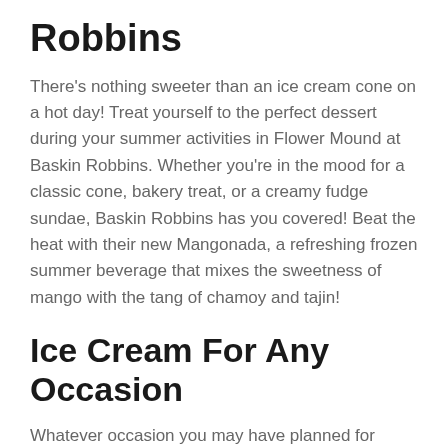Robbins
There's nothing sweeter than an ice cream cone on a hot day! Treat yourself to the perfect dessert during your summer activities in Flower Mound at Baskin Robbins. Whether you're in the mood for a classic cone, bakery treat, or a creamy fudge sundae, Baskin Robbins has you covered! Beat the heat with their new Mangonada, a refreshing frozen summer beverage that mixes the sweetness of mango with the tang of chamoy and tajin!
Ice Cream For Any Occasion
Whatever occasion you may have planned for summer, Basking Robbins has you covered! They create special ice cream for birthdays, graduation, and for any other summer activities in Flower Mound. Choose from their many flavors and your favorite topping to create your ultimate ice cream